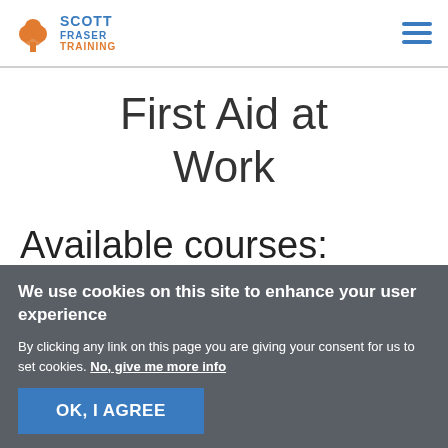Scott Fraser Training
First Aid at Work
Available courses:
We use cookies on this site to enhance your user experience
By clicking any link on this page you are giving your consent for us to set cookies. No, give me more info
OK, I AGREE